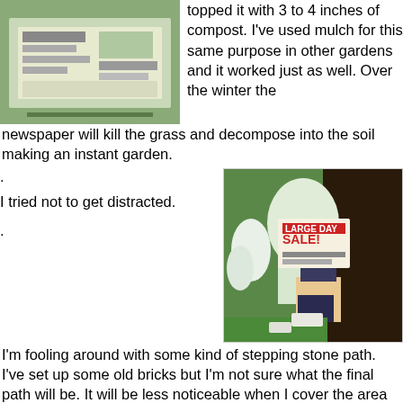[Figure (photo): Photo of newspapers spread out flat on grass outdoors]
topped it with 3 to 4 inches of compost. I've used mulch for this same purpose in other gardens and it worked just as well. Over the winter the newspaper will kill the grass and decompose into the soil making an instant garden.
.
I tried not to get distracted.
[Figure (photo): Person kneeling in garden holding up a newspaper with SALE headline, surrounded by dark soil and plants]
.
I'm fooling around with some kind of stepping stone path. I've set up some old bricks but I'm not sure what the final path will be. It will be less noticeable when I cover the area with mulch.
Next spring the garden will be ready to plant. I'll put in some evergreen shrubs, a hosta or two and maybe a mum and a few annuals. Then I'll cover the area with mulch.
It's a simple way to start a new garden.
.
[Figure (photo): Bottom partial photo showing house exterior with window and plants]